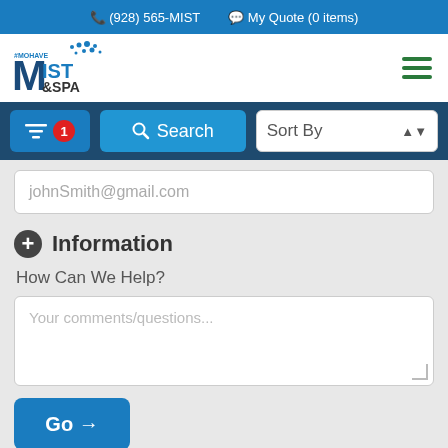(928) 565-MIST   My Quote (0 items)
[Figure (logo): Mohave Mist & Spa logo with blue and dark text and dot graphic]
[Figure (infographic): Navigation bar with filter button (1 active filter), Search button, and Sort By dropdown]
johnSmith@gmail.com
Information
How Can We Help?
Your comments/questions...
Go →
Sign up for our newsletter